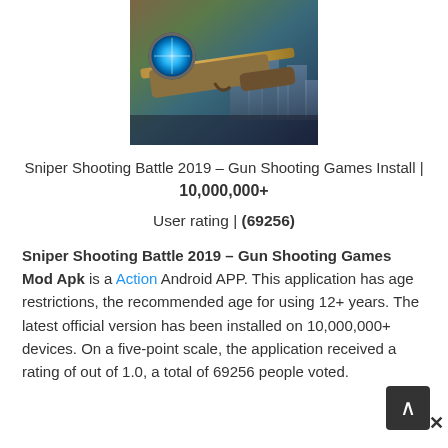[Figure (photo): Sniper rifle game screenshot showing a sniper scope and weapon in an urban setting]
Sniper Shooting Battle 2019 – Gun Shooting Games Install | 10,000,000+
User rating | (69256)
Sniper Shooting Battle 2019 – Gun Shooting Games Mod Apk is a Action Android APP. This application has age restrictions, the recommended age for using 12+ years. The latest official version has been installed on 10,000,000+ devices. On a five-point scale, the application received a rating of out of 1.0, a total of 69256 people voted.